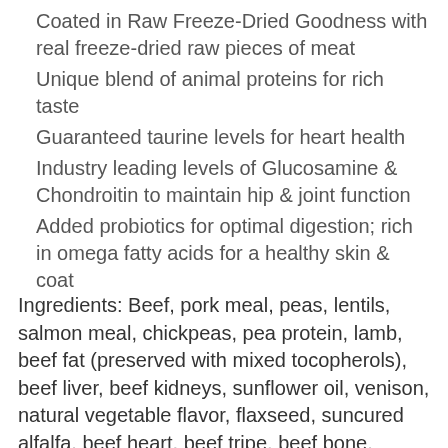Coated in Raw Freeze-Dried Goodness with real freeze-dried raw pieces of meat
Unique blend of animal proteins for rich taste
Guaranteed taurine levels for heart health
Industry leading levels of Glucosamine & Chondroitin to maintain hip & joint function
Added probiotics for optimal digestion; rich in omega fatty acids for a healthy skin & coat
Ingredients: Beef, pork meal, peas, lentils, salmon meal, chickpeas, pea protein, lamb, beef fat (preserved with mixed tocopherols), beef liver, beef kidneys, sunflower oil, venison, natural vegetable flavor, flaxseed, suncured alfalfa, beef heart, beef tripe, beef bone, fenugreek seed, pumpkin, coconut oil, pumpkin seed, organic cranberries, organic spinach, organic broccoli, organic beets, organic carrots, organic squash, organic